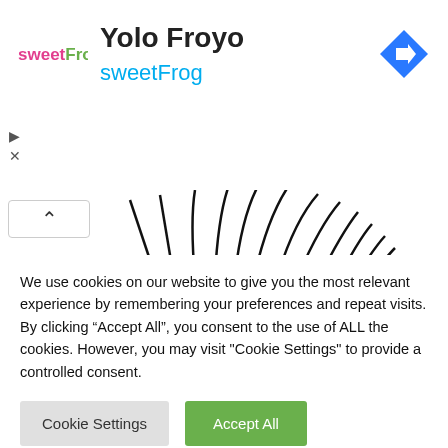[Figure (logo): sweetFrog logo - colorful text logo]
Yolo Froyo
sweetFrog
[Figure (illustration): Navigation arrow icon (blue diamond with right arrow)]
[Figure (photo): Sunnyfly Beauty - decorative false eyelashes with rhinestones on white background with pink watermark text]
We use cookies on our website to give you the most relevant experience by remembering your preferences and repeat visits. By clicking “Accept All”, you consent to the use of ALL the cookies. However, you may visit "Cookie Settings" to provide a controlled consent.
Cookie Settings
Accept All